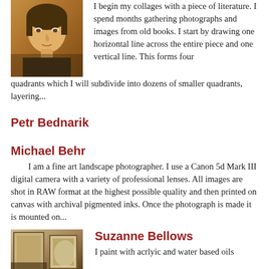[Figure (photo): Portrait photo of a young person, partial face visible, warm tones]
I begin my collages with a piece of literature. I spend months gathering photographs and images from old books. I start by drawing one horizontal line across the entire piece and one vertical line. This forms four quadrants which I will subdivide into dozens of smaller quadrants, layering...
Petr Bednarik
Michael Behr
I am a fine art landscape photographer. I use a Canon 5d Mark III digital camera with a variety of professional lenses. All images are shot in RAW format at the highest possible quality and then printed on canvas with archival pigmented inks. Once the photograph is made it is mounted on...
[Figure (photo): Photo of artwork or an interior scene, warm tones]
Suzanne Bellows
I paint with acrlyic and water based oils